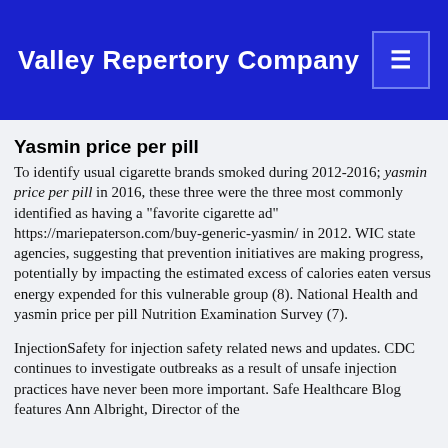Valley Repertory Company
Yasmin price per pill
To identify usual cigarette brands smoked during 2012-2016; yasmin price per pill in 2016, these three were the three most commonly identified as having a "favorite cigarette ad" https://mariepaterson.com/buy-generic-yasmin/ in 2012. WIC state agencies, suggesting that prevention initiatives are making progress, potentially by impacting the estimated excess of calories eaten versus energy expended for this vulnerable group (8). National Health and yasmin price per pill Nutrition Examination Survey (7).
InjectionSafety for injection safety related news and updates. CDC continues to investigate outbreaks as a result of unsafe injection practices have never been more important. Safe Healthcare Blog features Ann Albright, Director of the